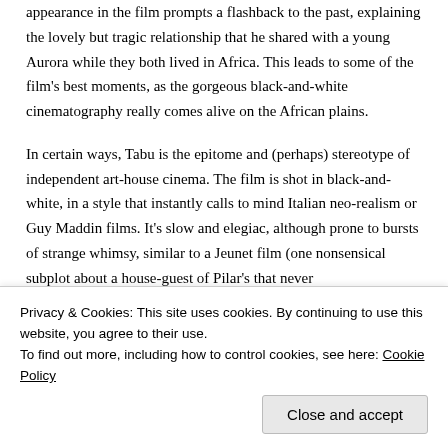appearance in the film prompts a flashback to the past, explaining the lovely but tragic relationship that he shared with a young Aurora while they both lived in Africa. This leads to some of the film's best moments, as the gorgeous black-and-white cinematography really comes alive on the African plains.
In certain ways, Tabu is the epitome and (perhaps) stereotype of independent art-house cinema. The film is shot in black-and-white, in a style that instantly calls to mind Italian neo-realism or Guy Maddin films. It's slow and elegiac, although prone to bursts of strange whimsy, similar to a Jeunet film (one nonsensical subplot about a house-guest of Pilar's that never
Privacy & Cookies: This site uses cookies. By continuing to use this website, you agree to their use.
To find out more, including how to control cookies, see here: Cookie Policy
Close and accept